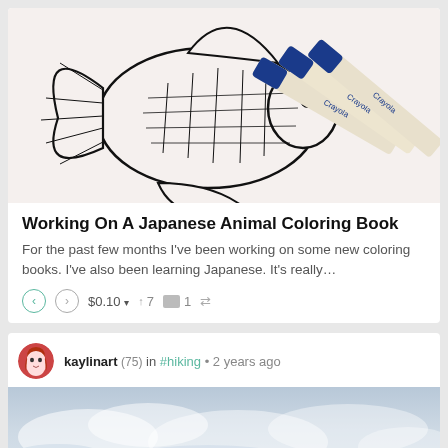[Figure (photo): Photo of a Japanese goldfish line-drawing coloring page with Crayola markers/pens resting on it]
Working On A Japanese Animal Coloring Book
For the past few months I've been working on some new coloring books. I've also been learning Japanese. It's really...
↑ ↓ $0.10 ▾  ↑ 7  ☐ 1  ↔
kaylinart (75) in #hiking • 2 years ago
[Figure (photo): Cloudy sky photograph, partially visible at bottom of page]